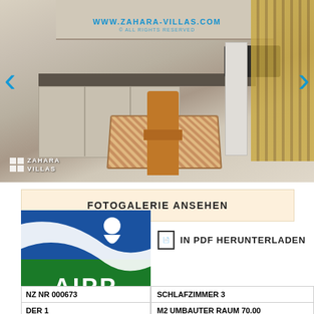[Figure (photo): Interior kitchen photo with dining table and chair, watermarked with www.zahara-villas.com, navigation arrows on sides, Zahara Villas logo in bottom left]
FOTOGALERIE ANSEHEN
[Figure (logo): AIPP - Association of International Property Professionals Member logo, blue and green]
IN PDF HERUNTERLADEN
| NZ NR 000673 | SCHLAFZIMMER 3 |
| DER 1 | M2 UMBAUTER RAUM 70.00 |